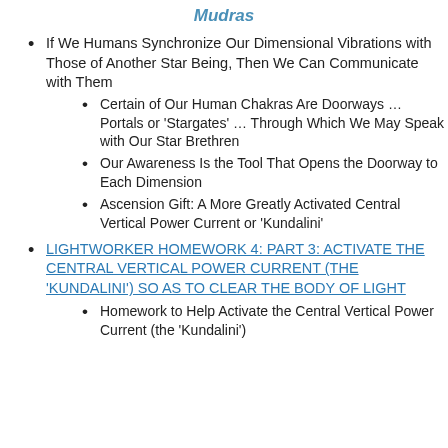Mudras
If We Humans Synchronize Our Dimensional Vibrations with Those of Another Star Being, Then We Can Communicate with Them
Certain of Our Human Chakras Are Doorways … Portals or 'Stargates' … Through Which We May Speak with Our Star Brethren
Our Awareness Is the Tool That Opens the Doorway to Each Dimension
Ascension Gift: A More Greatly Activated Central Vertical Power Current or 'Kundalini'
LIGHTWORKER HOMEWORK 4: PART 3: ACTIVATE THE CENTRAL VERTICAL POWER CURRENT (THE 'KUNDALINI') SO AS TO CLEAR THE BODY OF LIGHT
Homework to Help Activate the Central Vertical Power Current (the 'Kundalini')